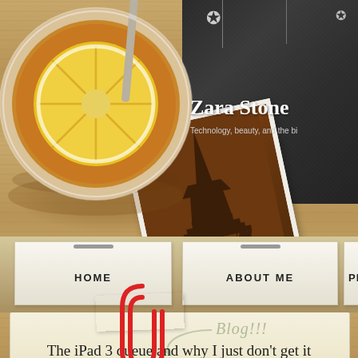[Figure (screenshot): Screenshot of a personal blog website called 'Zara Stone' with tagline 'Technology, beauty, and the b...' featuring a decorative wood-background design with a coffee cup with lemon slice, a polaroid photo of the Eiffel Tower, navigation items (HOME, ABOUT ME, PRESS ABOUT M...), a red paperclip, Blog!!! label, and a post title 'The iPad 3 queue and why I just don't get it']